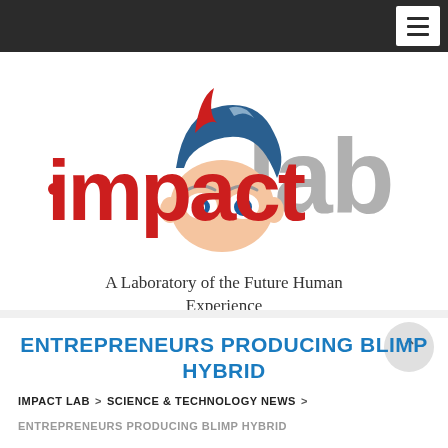Navigation bar with hamburger menu
[Figure (logo): Impact Lab logo — stylized cartoon face with blue hair, red and gray text reading 'impact lab']
A Laboratory of the Future Human Experience
ENTREPRENEURS PRODUCING BLIMP HYBRID
IMPACT LAB > SCIENCE & TECHNOLOGY NEWS >
ENTREPRENEURS PRODUCING BLIMP HYBRID